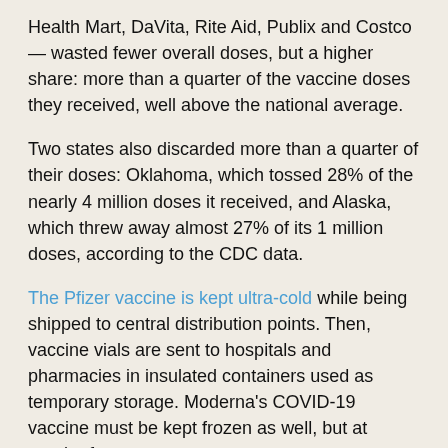Health Mart, DaVita, Rite Aid, Publix and Costco — wasted fewer overall doses, but a higher share: more than a quarter of the vaccine doses they received, well above the national average.
Two states also discarded more than a quarter of their doses: Oklahoma, which tossed 28% of the nearly 4 million doses it received, and Alaska, which threw away almost 27% of its 1 million doses, according to the CDC data.
The Pfizer vaccine is kept ultra-cold while being shipped to central distribution points. Then, vaccine vials are sent to hospitals and pharmacies in insulated containers used as temporary storage. Moderna's COVID-19 vaccine must be kept frozen as well, but at regular freezer temperatures.
Vaccines that are kept too long outside of